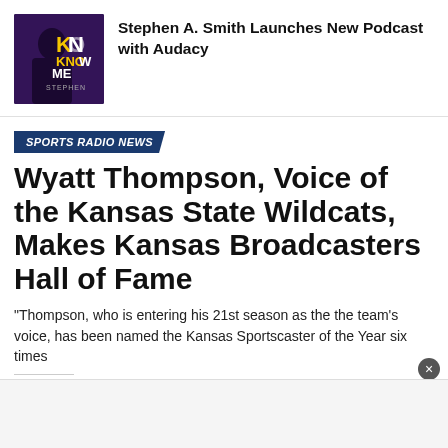[Figure (photo): Podcast thumbnail image showing Stephen A. Smith with dark purple background and text 'KNOW MORE' and 'STEPHEN']
Stephen A. Smith Launches New Podcast with Audacy
SPORTS RADIO NEWS
Wyatt Thompson, Voice of the Kansas State Wildcats, Makes Kansas Broadcasters Hall of Fame
"Thompson, who is entering his 21st season as the the team's voice, has been named the Kansas Sportscaster of the Year six times